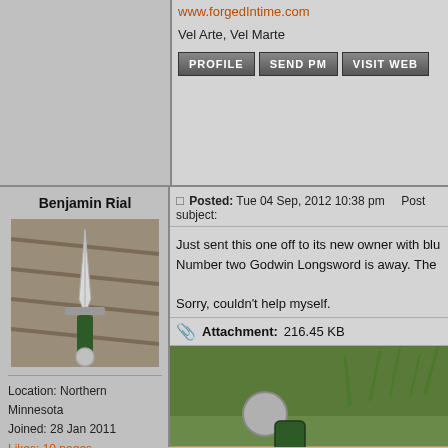www.forgedIntime.com
Vel Arte, Vel Marte
PROFILE   SEND PM   VISIT WEB
Benjamin Rial
[Figure (photo): Photo of a dagger with green handle on wooden surface]
Location: Northern Minnesota
Joined: 28 Jan 2011
Likes: 10 pages
Posts: 144
Feedback score: None
Posted: Tue 04 Sep, 2012 10:38 pm    Post subject:
Just sent this one off to its new owner with blu... Number two Godwin Longsword is away. The...
Sorry, couldn't help myself.
Attachment: 216.45 KB
[Figure (photo): Photo of a sword with green scabbard on wooden boards with grass in background]